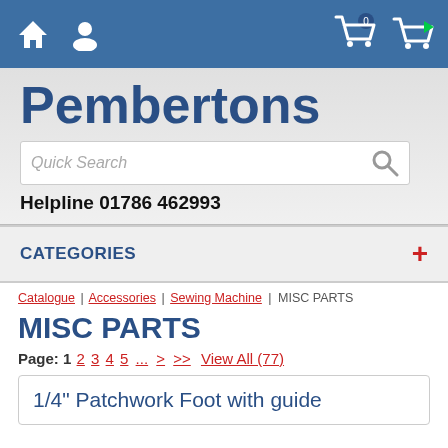Navigation bar with home icon, user icon, cart (0), and checkout cart icons
Pembertons
Quick Search
Helpline 01786 462993
CATEGORIES +
Catalogue | Accessories | Sewing Machine | MISC PARTS
MISC PARTS
Page: 1 2 3 4 5 ... > >> View All (77)
1/4" Patchwork Foot with guide